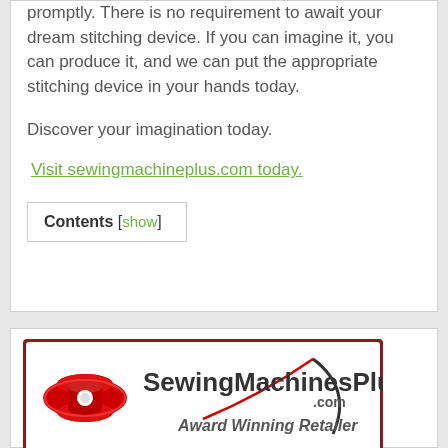promptly. There is no requirement to await your dream stitching device. If you can imagine it, you can produce it, and we can put the appropriate stitching device in your hands today.
Discover your imagination today.
Visit sewingmachineplus.com today.
Contents [show]
[Figure (logo): SewingMachinesPlus.com Award Winning Retailer logo with red thread spool and needle illustration]